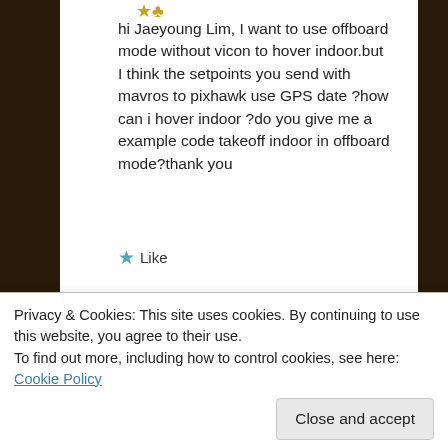[Figure (illustration): Small golden avatar/icon at top of comment]
hi Jaeyoung Lim, I want to use offboard mode without vicon to hover indoor.but I think the setpoints you send with mavros to pixhawk use GPS date ?how can i hover indoor ?do you give me a example code takeoff indoor in offboard mode?thank you
★ Like
Reply
[Figure (photo): Round avatar photo of Jaeyoung Lim]
Jaeyoung Lim
Privacy & Cookies: This site uses cookies. By continuing to use this website, you agree to their use.
To find out more, including how to control cookies, see here: Cookie Policy
Close and accept